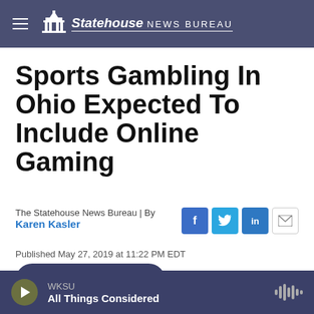Statehouse NEWS BUREAU
Sports Gambling In Ohio Expected To Include Online Gaming
The Statehouse News Bureau | By Karen Kasler
Published May 27, 2019 at 11:22 PM EDT
LISTEN • 4:40
WKSU All Things Considered